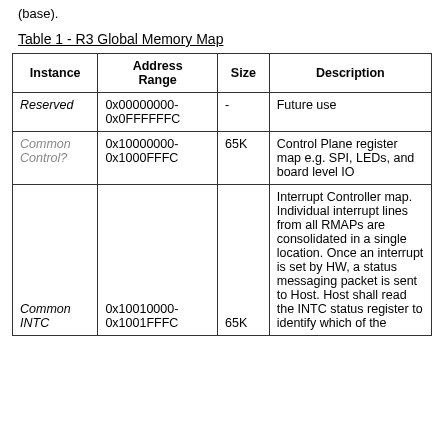(base).
Table 1 - R3 Global Memory Map
| Instance | Address Range | Size | Description |
| --- | --- | --- | --- |
| Reserved | 0x00000000-0x0FFFFFFC | - | Future use |
| Common Control? | 0x10000000-0x1000FFFC | 65K | Control Plane register map e.g. SPI, LEDs, and board level IO |
| Common INTC | 0x10010000-0x1001FFFC | 65K | Interrupt Controller map. Individual interrupt lines from all RMAPs are consolidated in a single location. Once an interrupt is set by HW, a status messaging packet is sent to Host. Host shall read the INTC status register to identify which of the |